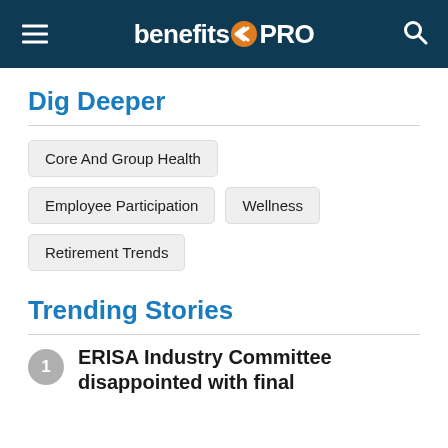benefitsPRO
Dig Deeper
Core And Group Health
Employee Participation
Wellness
Retirement Trends
Trending Stories
1 ERISA Industry Committee disappointed with final